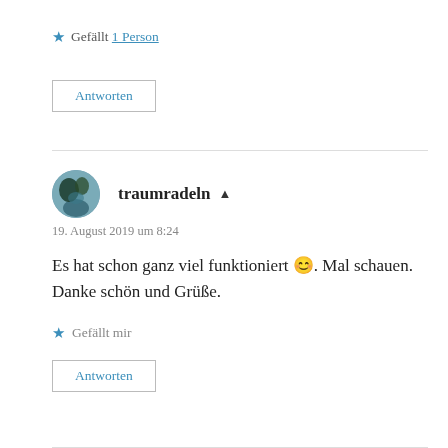★ Gefällt 1 Person
Antworten
traumradeln  ▲
19. August 2019 um 8:24
Es hat schon ganz viel funktioniert 😊. Mal schauen. Danke schön und Grüße.
★ Gefällt mir
Antworten